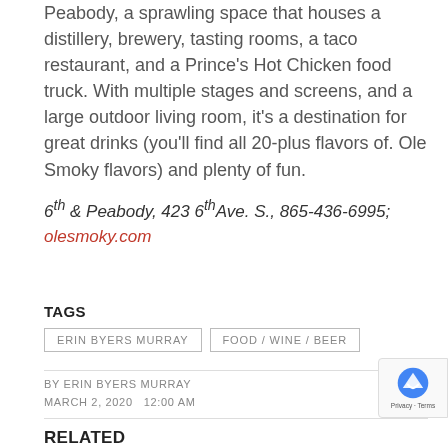Peabody, a sprawling space that houses a distillery, brewery, tasting rooms, a taco restaurant, and a Prince's Hot Chicken food truck. With multiple stages and screens, and a large outdoor living room, it's a destination for great drinks (you'll find all 20-plus flavors of. Ole Smoky flavors) and plenty of fun.
6th & Peabody, 423 6th Ave. S., 865-436-6995; olesmoky.com
TAGS
ERIN BYERS MURRAY
FOOD / WINE / BEER
BY ERIN BYERS MURRAY
MARCH 2, 2020   12:00 AM
RELATED